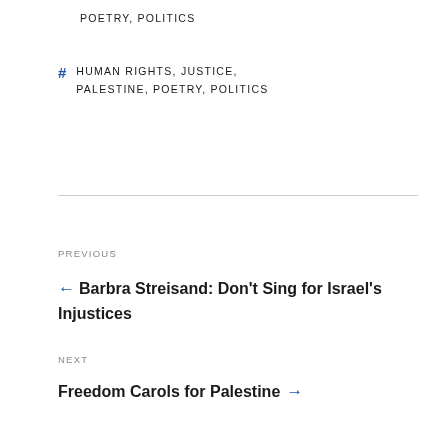POETRY, POLITICS
# HUMAN RIGHTS, JUSTICE, PALESTINE, POETRY, POLITICS
PREVIOUS
← Barbra Streisand: Don't Sing for Israel's Injustices
NEXT
Freedom Carols for Palestine →